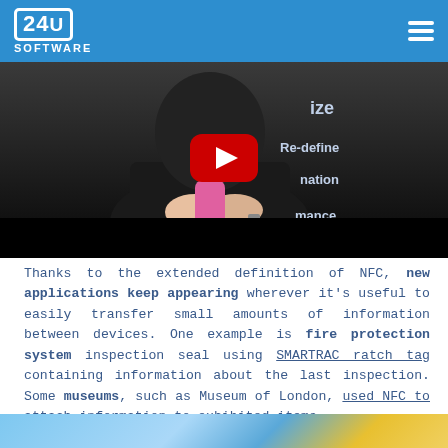24U SOFTWARE
[Figure (screenshot): YouTube video thumbnail showing a person in black clothing holding a pink object, with text overlays 'ize', 'Re-define', 'nation', 'mance' on the right side, and a YouTube play button centered over the image. A black progress bar is at the bottom.]
Thanks to the extended definition of NFC, new applications keep appearing wherever it's useful to easily transfer small amounts of information between devices. One example is fire protection system inspection seal using SMARTRAC ratch tag containing information about the last inspection. Some museums, such as Museum of London, used NFC to attach information to exhibited items.
[Figure (photo): Bottom strip showing a partial image with blue sky and yellow/orange colors, partially visible.]